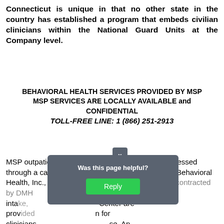Connecticut is unique in that no other state in the country has established a program that embeds civilian clinicians within the National Guard Units at the Company level.
BEHAVIORAL HEALTH SERVICES PROVIDED BY MSP
MSP SERVICES ARE LOCALLY AVAILABLE and CONFIDENTIAL
TOLL-FREE LINE: 1 (866) 251-2913
MSP outpatient counseling referral services are accessed through a call center that is managed by Advanced Behavioral Health, Inc., an administrative service organization contracted by DMH. Following a brief intake, referrals to the Call Center are provided for clinicians for those. An